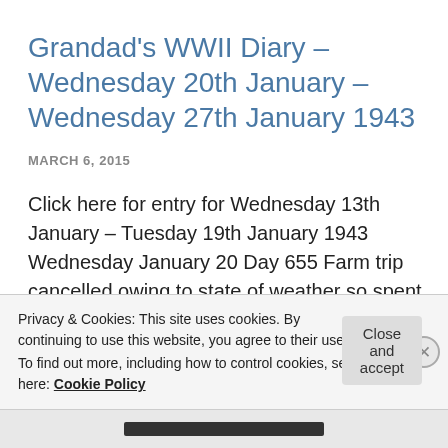Grandad's WWII Diary – Wednesday 20th January – Wednesday 27th January 1943
MARCH 6, 2015
Click here for entry for Wednesday 13th January – Tuesday 19th January 1943 Wednesday January 20 Day 655 Farm trip cancelled owing to state of weather so spent most of day in writing.  Slowing catching up. Thursday January 21 Day 656 … Continue reading
Privacy & Cookies: This site uses cookies. By continuing to use this website, you agree to their use.
To find out more, including how to control cookies, see here: Cookie Policy
Close and accept